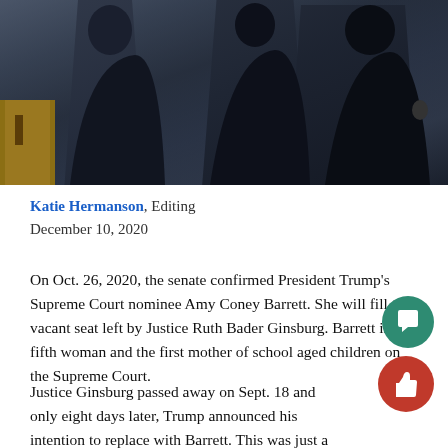[Figure (photo): Photograph of figures in dark robes, likely Supreme Court justices, with dark background and a wooden podium visible at left edge]
Katie Hermanson, Editing
December 10, 2020
On Oct. 26, 2020, the senate confirmed President Trump's Supreme Court nominee Amy Coney Barrett. She will fill the vacant seat left by Justice Ruth Bader Ginsburg. Barrett is the fifth woman and the first mother of school aged children on the Supreme Court.
Justice Ginsburg passed away on Sept. 18 and only eight days later, Trump announced his intention to replace with Barrett. This was just a little over a month before